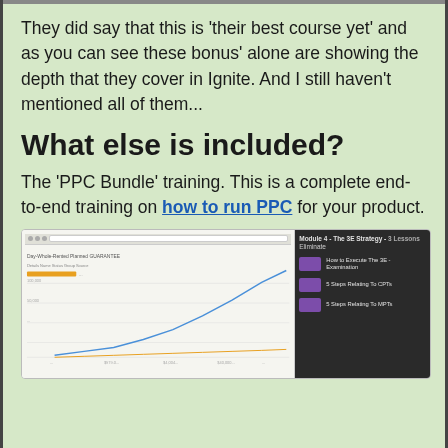They did say that this is 'their best course yet' and as you can see these bonus' alone are showing the depth that they cover in Ignite. And I still haven't mentioned all of them...
What else is included?
The 'PPC Bundle' training. This is a complete end-to-end training on how to run PPC for your product.
[Figure (screenshot): Screenshot showing a PPC analytics dashboard on the left with line charts showing campaign performance over time, and a dark-themed course module list on the right showing Module 4 - The 3E Strategy with lesson items including 'How to Execute The 3E - Examination', '5 Steps Relating To CPTs', and '5 Steps Relating To MPTs'.]